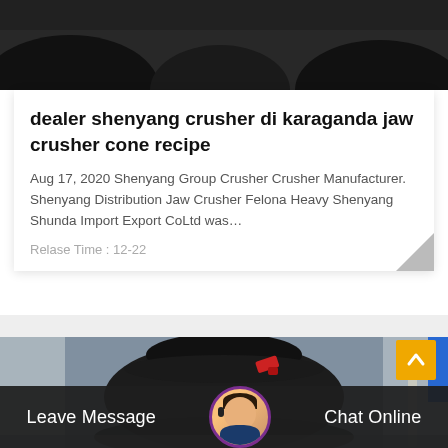[Figure (photo): Dark industrial machinery / crusher equipment viewed from below, dark background]
dealer shenyang crusher di karaganda jaw crusher cone recipe
Aug 17, 2020 Shenyang Group Crusher Crusher Manufacturer. Shenyang Distribution Jaw Crusher Felona Heavy Shenyang Shunda Import Export CoLtd was…
Relase Time : 12-22
[Figure (photo): Industrial cone crusher machine in a factory/warehouse setting, large black heavy machinery with red component and blue panel visible in background]
Leave Message
Chat Online